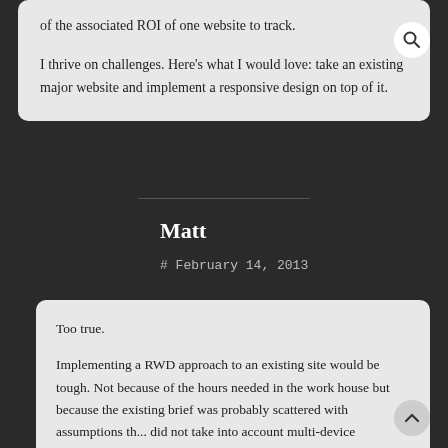of the associated ROI of one website to track.

I thrive on challenges. Here’s what I would love: take an existing major website and implement a responsive design on top of it.
Matt
# February 14, 2013
Too true.

Implementing a RWD approach to an existing site would be tough. Not because of the hours needed in the work house but because the existing brief was probably scattered with assumptions th... did not take into account multi-device